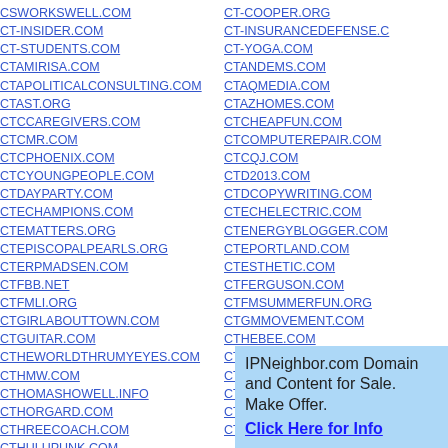CSWORKSWELL.COM
CT-INSIDER.COM
CT-STUDENTS.COM
CTAMIRISA.COM
CTAPOLITICALCONSULTING.COM
CTAST.ORG
CTCCAREGIVERS.COM
CTCMR.COM
CTCPHOENIX.COM
CTCYOUNGPEOPLE.COM
CTDAYPARTY.COM
CTECHAMPIONS.COM
CTEMATTERS.ORG
CTEPISCOPALPEARLS.ORG
CTERPMADSEN.COM
CTFBB.NET
CTFMLI.ORG
CTGIRLABOUTTOWN.COM
CTGUITAR.COM
CTHEWORLDTHRUMYEYES.COM
CTHMW.COM
CTHOMASHOWELL.INFO
CTHORGARD.COM
CTHREECOACH.COM
CTHULUPUNK.COM
CTJCREATIONS.COM
CTKANDCO.COM
CTKETTLEBELLS.COM
CT-COOPER.ORG
CT-INSURANCEDEFENSE.C
CT-YOGA.COM
CTANDEMS.COM
CTAQMEDIA.COM
CTAZHOMES.COM
CTCHEAPFUN.COM
CTCOMPUTEREPAIR.COM
CTCQJ.COM
CTD2013.COM
CTDCOPYWRITING.COM
CTECHELECTRIC.COM
CTENERGYBLOGGER.COM
CTEPORTLAND.COM
CTESTHETIC.COM
CTFERGUSON.COM
CTFMSUMMERFUN.ORG
CTGMMOVEMENT.COM
CTHEBEE.COM
CTHHOUSE.ORG
CTHOLISTICINSTITUTE.CO
CTHOMEBLOG.COM
CTHORINGTONPHOTOS.CO
CTHULIUROTICA.COM
IPNeighbor.com Domain and Content for Sale. Make Offer. Click Here for Info